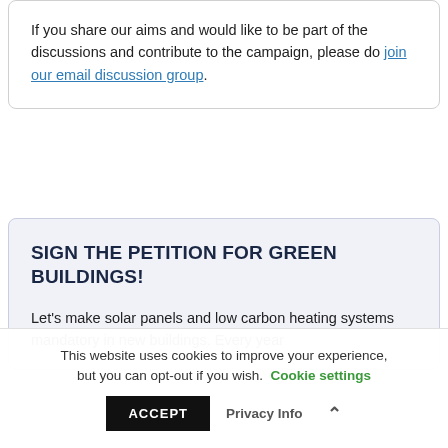If you share our aims and would like to be part of the discussions and contribute to the campaign, please do join our email discussion group.
SIGN THE PETITION FOR GREEN BUILDINGS!
Let's make solar panels and low carbon heating systems mandatory in new buildings. Every year
This website uses cookies to improve your experience, but you can opt-out if you wish. Cookie settings
ACCEPT  Privacy Info